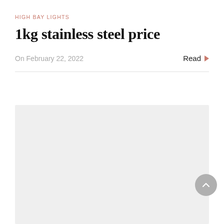HIGH BAY LIGHTS
1kg stainless steel price
On February 22, 2022
Read
[Figure (photo): Light gray placeholder image area below a horizontal divider line]